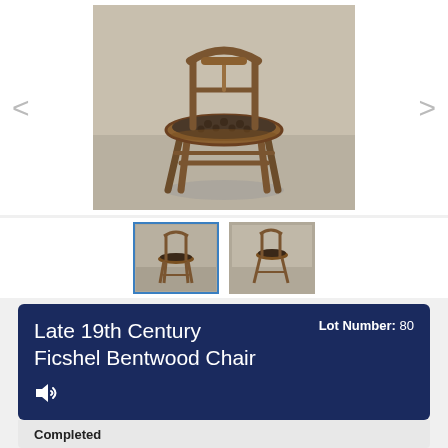[Figure (photo): Large main photo of a Late 19th Century Ficshel Bentwood Chair — wooden bentwood chair with round tufted upholstered seat, front-facing view on a concrete floor.]
[Figure (photo): Thumbnail 1 (selected, blue border): front view of the bentwood chair.]
[Figure (photo): Thumbnail 2: side/angled view of the bentwood chair.]
Late 19th Century Ficshel Bentwood Chair
Lot Number: 80
Completed